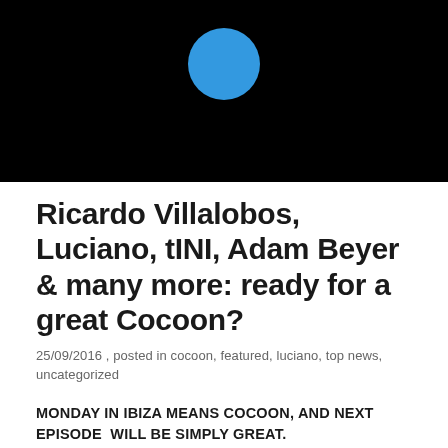[Figure (illustration): Black background image with a blue circle in the upper center portion]
Ricardo Villalobos, Luciano, tINI, Adam Beyer & many more: ready for a great Cocoon?
25/09/2016 , posted in cocoon, featured, luciano, top news, uncategorized
MONDAY IN IBIZA MEANS COCOON, AND NEXT EPISODE  WILL BE SIMPLY GREAT.
THE LINE UP? INCLUDES BIG NAMES AS  THE